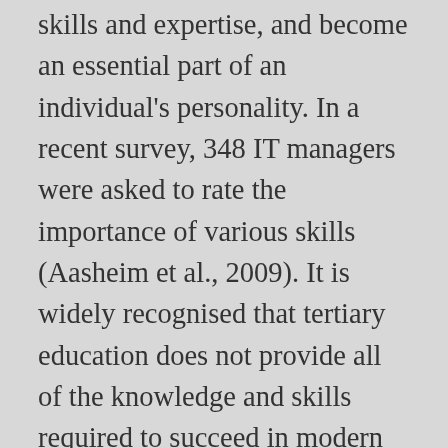skills and expertise, and become an essential part of an individual's personality. In a recent survey, 348 IT managers were asked to rate the importance of various skills (Aasheim et al., 2009). It is widely recognised that tertiary education does not provide all of the knowledge and skills required to succeed in modern societies. Powered by Create your own unique website with customizable templates. communication skills as the most important factor used in selecting their management staff. There are many soft skills ... Although many would find this type of essay difficult to construct, it can be accomplished through proper studying of the subject, comparison and contrast, definition,